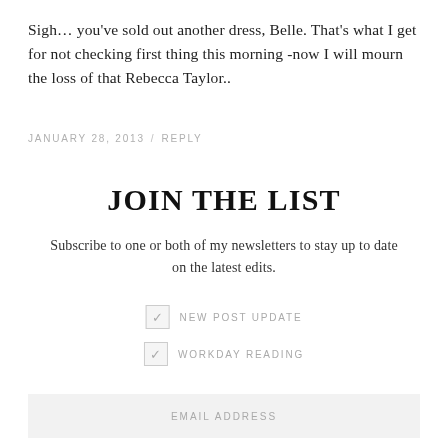Sigh… you've sold out another dress, Belle. That's what I get for not checking first thing this morning -now I will mourn the loss of that Rebecca Taylor..
JANUARY 28, 2013  /  REPLY
JOIN THE LIST
Subscribe to one or both of my newsletters ​to stay up to date on the latest edits.
NEW POST UPDATE
WORKDAY READING
EMAIL ADDRESS